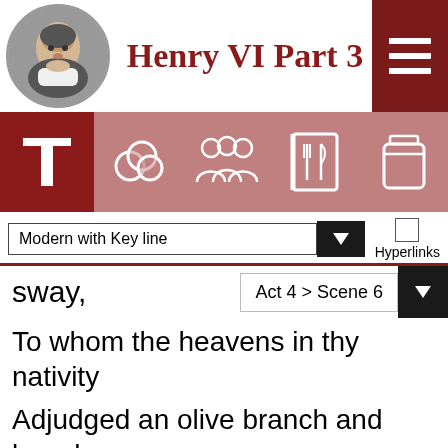Henry VI Part 3
[Figure (screenshot): Navigation icon bar with T (text), coins, people group, recipe book, and jar icons]
Modern with Key line
Hyperlinks
sway,
Act 4 > Scene 6
To whom the heavens in thy nativity
Adjudged an olive branch and laurel crown,
As likely to be blest in peace and war;